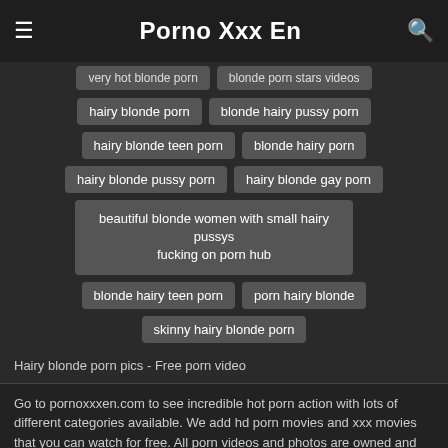≡  Porno Xxx En  🔍
very hot blonde porn
blonde porn stars videos
hairy blonde porn
blonde hairy pussy porn
hairy blonde teen porn
blonde hairy porn
hairy blonde pussy porn
hairy blonde gay porn
beautiful blonde women with small hairy pussys fucking on porn hub
blonde hairy teen porn
porn hairy blonde
skinny hairy blonde porn
Hairy blonde porn pics - Free porn video
Go to pornoxxxen.com to see incredible hot porn action with lots of different categories available. We add hd porn movies and xxx movies that you can watch for free. All porn videos and photos are owned and copyrighted. All